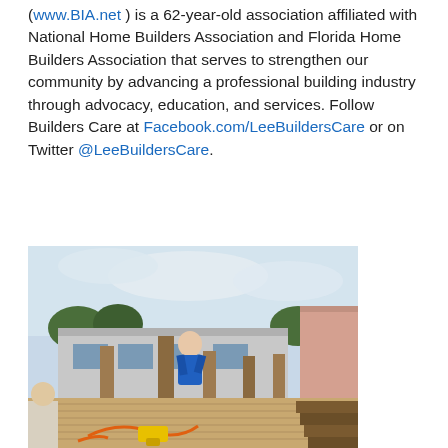(www.BIA.net ) is a 62-year-old association affiliated with National Home Builders Association and Florida Home Builders Association that serves to strengthen our community by advancing a professional building industry through advocacy, education, and services. Follow Builders Care at Facebook.com/LeeBuildersCare or on Twitter @LeeBuildersCare.
[Figure (photo): Outdoor construction photo showing a person in a blue shirt working on wooden deck posts near a residential building. Construction tools including power tools and an orange extension cord are visible on the deck floor.]